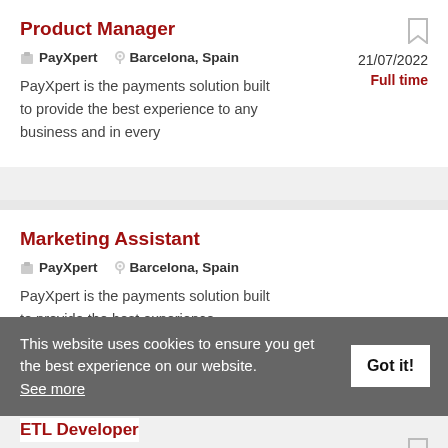Product Manager
PayXpert   Barcelona, Spain   21/07/2022   Full time
PayXpert is the payments solution built to provide the best experience to any business and in every
Marketing Assistant
PayXpert   Barcelona, Spain   19/07/2022   Full time
PayXpert is the payments solution built to provide the best experience
This website uses cookies to ensure you get the best experience on our website. See more   Got it!
ETL Developer